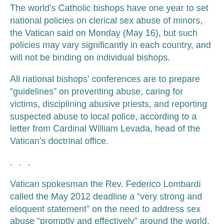The world's Catholic bishops have one year to set national policies on clerical sex abuse of minors, the Vatican said on Monday (May 16), but such policies may vary significantly in each country, and will not be binding on individual bishops.
All national bishops' conferences are to prepare “guidelines” on preventing abuse, caring for victims, disciplining abusive priests, and reporting suspected abuse to local police, according to a letter from Cardinal William Levada, head of the Vatican’s doctrinal office.
. . .
Vatican spokesman the Rev. Federico Lombardi called the May 2012 deadline a “very strong and eloquent statement” on the need to address sex abuse “promptly and effectively” around the world.